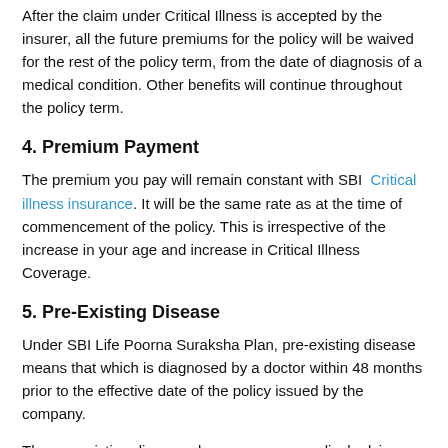After the claim under Critical Illness is accepted by the insurer, all the future premiums for the policy will be waived for the rest of the policy term, from the date of diagnosis of a medical condition. Other benefits will continue throughout the policy term.
4. Premium Payment
The premium you pay will remain constant with SBI Critical illness insurance. It will be the same rate as at the time of commencement of the policy. This is irrespective of the increase in your age and increase in Critical Illness Coverage.
5. Pre-Existing Disease
Under SBI Life Poorna Suraksha Plan, pre-existing disease means that which is diagnosed by a doctor within 48 months prior to the effective date of the policy issued by the company.
The pre-existing disease also means any medical advice or treatment that was recommended by or received from a doctor within 48 months to the effective date of the policy or its revival.